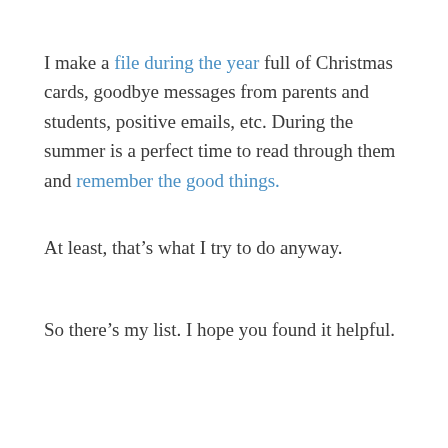I make a file during the year full of Christmas cards, goodbye messages from parents and students, positive emails, etc. During the summer is a perfect time to read through them and remember the good things.
At least, that’s what I try to do anyway.
So there’s my list. I hope you found it helpful.